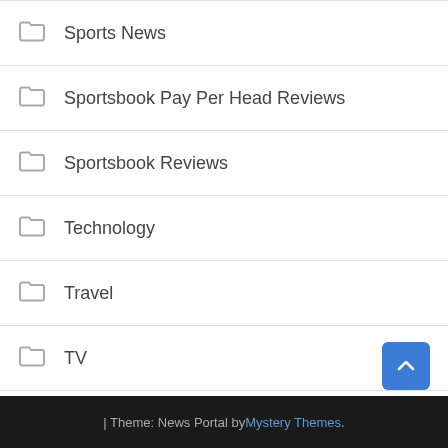Sports News
Sportsbook Pay Per Head Reviews
Sportsbook Reviews
Technology
Travel
TV
U.S. News
Uncategorized
World News
| Theme: News Portal by Mystery Themes.